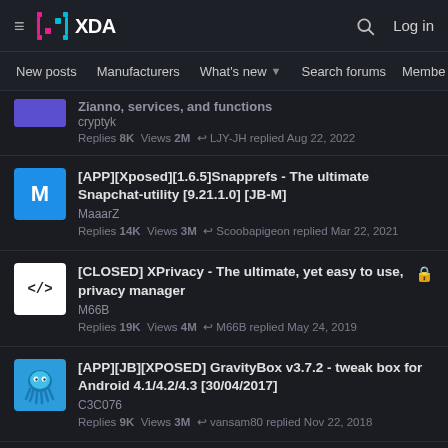XDA Developers
New posts   Manufacturers   What's new   Search forums   Members   >
[title partially visible] cryptyk  Replies 8K  Views 2M  LJY-JH replied Aug 22, 2022
[APP][Xposed][1.6.5]Snapprefs - The ultimate Snapchat-utility [9.21.1.0] [JB-M]  MaaarZ  Replies 14K  Views 3M  Scoobapigeon replied Mar 22, 2021
[CLOSED] XPrivacy - The ultimate, yet easy to use, privacy manager  M66B  Replies 19K  Views 4M  M66B replied May 24, 2019
[APP][JB][XPOSED] GravityBox v3.7.2 - tweak box for Android 4.1/4.2/4.3 [30/04/2017]  C3C076  Replies 9K  Views 3M  vansam80 replied Nov 22, 2018